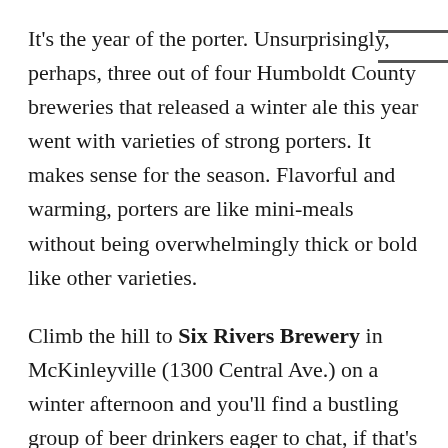It's the year of the porter. Unsurprisingly, perhaps, three out of four Humboldt County breweries that released a winter ale this year went with varieties of strong porters. It makes sense for the season. Flavorful and warming, porters are like mini-meals without being overwhelmingly thick or bold like other varieties.
Climb the hill to Six Rivers Brewery in McKinleyville (1300 Central Ave.) on a winter afternoon and you'll find a bustling group of beer drinkers eager to chat, if that's what you're looking for. Otherwise, grab a window seat and watch the sunset (show up early, it's winter) with a glass of Jacob Marley Spiced Porter ($5, 10-ounce pour). Six Rivers produces Jacob Marley